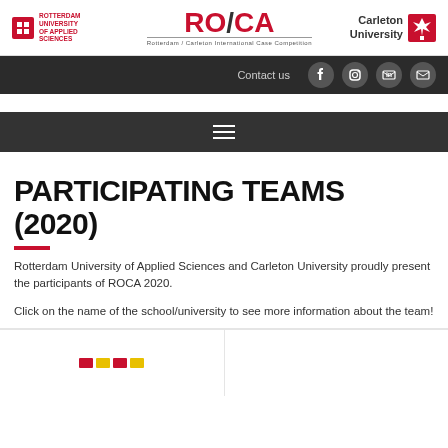[Figure (logo): Rotterdam University of Applied Sciences logo (left), RO/CA Rotterdam/Carleton International Case Competition logo (center), Carleton University logo (right)]
[Figure (screenshot): Dark navigation bar with Contact us text and social media icons (Facebook, Instagram, LinkedIn, Email)]
[Figure (screenshot): Dark hamburger menu bar with three horizontal lines]
PARTICIPATING TEAMS (2020)
Rotterdam University of Applied Sciences and Carleton University proudly present the participants of ROCA 2020.
Click on the name of the school/university to see more information about the team!
[Figure (screenshot): Partial view of team card thumbnails at the bottom of the page]